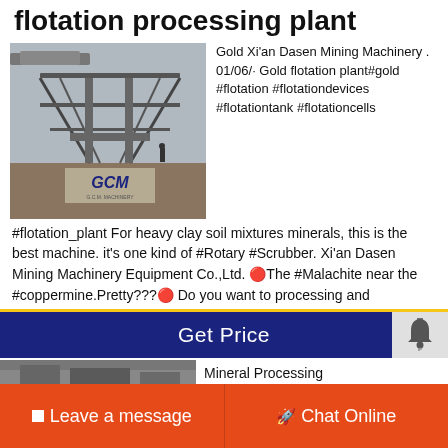flotation processing plant
[Figure (photo): Industrial flotation processing plant with GCM machinery branding, showing large metal framework structure and conveyor systems]
Gold Xi'an Dasen Mining Machinery . 01/06/· Gold flotation plant#gold #flotation #flotationdevices #flotationtank #flotationcells
#flotation_plant For heavy clay soil mixtures minerals, this is the best machine. it's one kind of #Rotary #Scrubber. Xi'an Dasen Mining Machinery Equipment Co.,Ltd. 🔴The #Malachite near the #coppermine.Pretty???🔴 Do you want to processing and
[Figure (photo): Mineral processing equipment photo, partially visible at bottom of page]
Mineral Processing
Leave a message
Chat Online